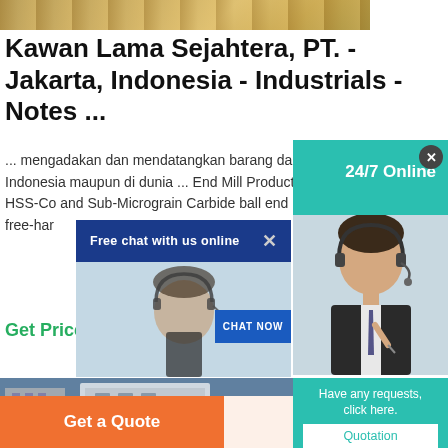[Figure (photo): Top strip showing industrial/warehouse scene with yellow equipment]
Kawan Lama Sejahtera, PT. - Jakarta, Indonesia - Industrials - Notes ...
... mengadakan dan mendatangkan barang dari berbagai vendor di Indonesia maupun di dunia ... End Mill Product Categories Ball-End -- HSS-Co and Sub-Micrograin Carbide ball end m Sub-Micrograi ... For free-har
Get Price
[Figure (screenshot): Teal 24/7 Online chat widget panel on right side]
[Figure (screenshot): Blue 'Free chat with us online' bar with X close button and CHAT NOW button, person with headset photo]
[Figure (photo): Bottom industrial machinery scene]
[Figure (screenshot): Teal panel with 'Have any requests, click here.' and Quotation button]
Get a Quote
WhatsApp